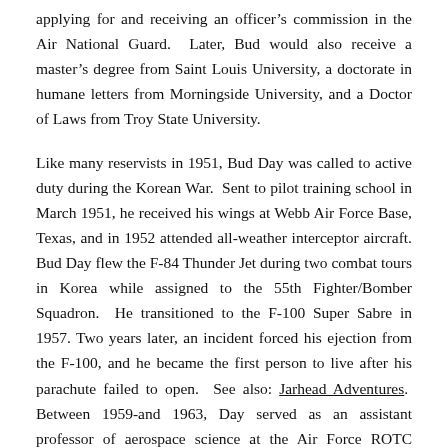applying for and receiving an officer's commission in the Air National Guard. Later, Bud would also receive a master's degree from Saint Louis University, a doctorate in humane letters from Morningside University, and a Doctor of Laws from Troy State University.
Like many reservists in 1951, Bud Day was called to active duty during the Korean War. Sent to pilot training school in March 1951, he received his wings at Webb Air Force Base, Texas, and in 1952 attended all-weather interceptor aircraft. Bud Day flew the F-84 Thunder Jet during two combat tours in Korea while assigned to the 55th Fighter/Bomber Squadron. He transitioned to the F-100 Super Sabre in 1957. Two years later, an incident forced his ejection from the F-100, and he became the first person to live after his parachute failed to open. See also: Jarhead Adventures. Between 1959-and 1963, Day served as an assistant professor of aerospace science at the Air Force ROTC detachment at Saint Louis University.